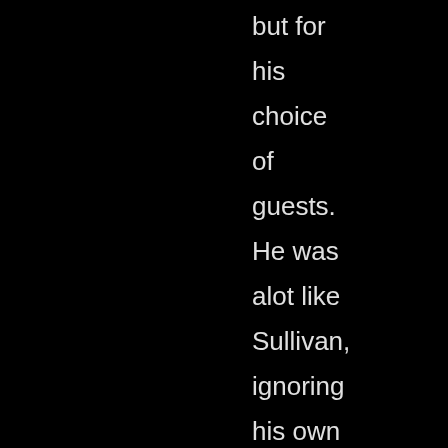but for his choice of guests. He was alot like Sullivan, ignoring his own personal tastes and putting people/a on who were influentia in popular culture. John and